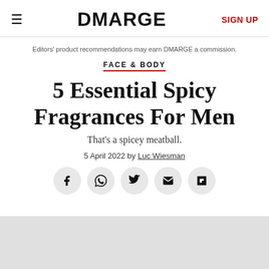DMARGE  SIGN UP
Editors' product recommendations may earn DMARGE a commission.
FACE & BODY
5 Essential Spicy Fragrances For Men
That's a spicey meatball.
5 April 2022 by Luc Wiesman
[Figure (other): Social share buttons: Facebook, WhatsApp, Twitter, Email, Flipboard]